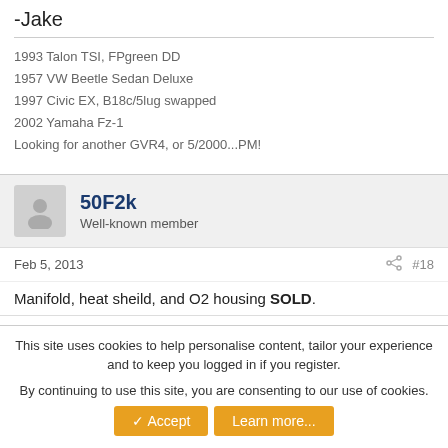-Jake
1993 Talon TSI, FPgreen DD
1957 VW Beetle Sedan Deluxe
1997 Civic EX, B18c/5lug swapped
2002 Yamaha Fz-1
Looking for another GVR4, or 5/2000...PM!
50F2k
Well-known member
Feb 5, 2013
#18
Manifold, heat sheild, and O2 housing SOLD.
1993 Talon TSI, FPgreen DD
1957 VW Beetle Sedan Deluxe
This site uses cookies to help personalise content, tailor your experience and to keep you logged in if you register. By continuing to use this site, you are consenting to our use of cookies.